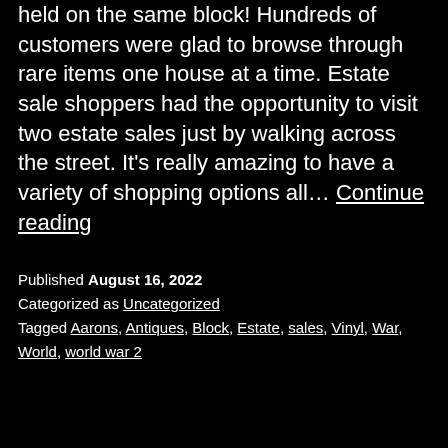held on the same block! Hundreds of customers were glad to browse through rare items one house at a time. Estate sale shoppers had the opportunity to visit two estate sales just by walking across the street. It's really amazing to have a variety of shopping options all… Continue reading
Published August 16, 2022
Categorized as Uncategorized
Tagged Aarons, Antiques, Block, Estate, sales, Vinyl, War, World, world war 2